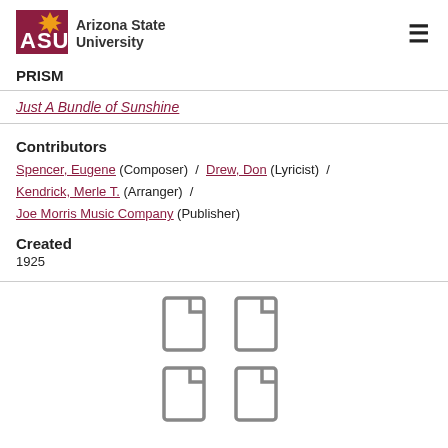[Figure (logo): Arizona State University logo with ASU block letters in maroon and university name]
PRISM
Just A Bundle of Sunshine
Contributors
Spencer, Eugene (Composer) / Drew, Don (Lyricist) / Kendrick, Merle T. (Arranger) / Joe Morris Music Company (Publisher)
Created
1925
[Figure (illustration): Four document/file icons arranged in a 2x2 grid]